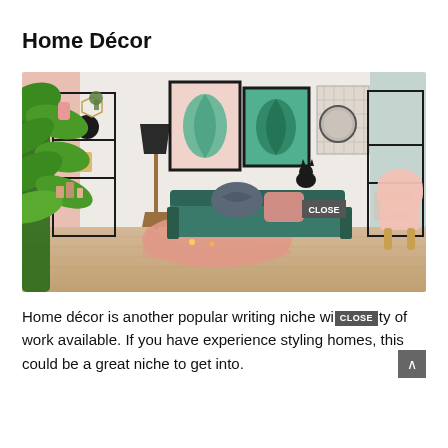Home Décor
[Figure (photo): Stylish home décor living room scene featuring a teal sofa with knot pillow and pink throw blanket, black metal shelving units, monstera leaf art prints, a round floor lamp, a pink armchair, large green houseplant, and wood-look flooring. A 'CLOSE' button overlay is visible in the lower right area of the image.]
Home décor is another popular writing niche with plenty of work available. If you have experience styling homes, this could be a great niche to get into.